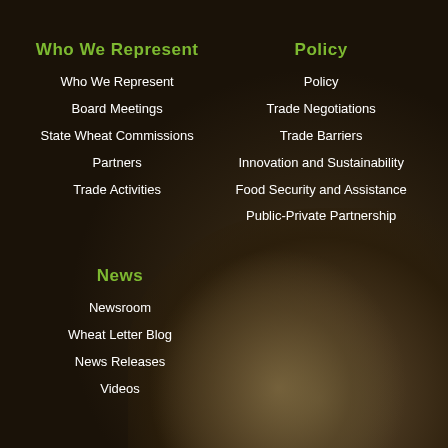Who We Represent
Who We Represent
Board Meetings
State Wheat Commissions
Partners
Trade Activities
Policy
Policy
Trade Negotiations
Trade Barriers
Innovation and Sustainability
Food Security and Assistance
Public-Private Partnership
News
Newsroom
Wheat Letter Blog
News Releases
Videos